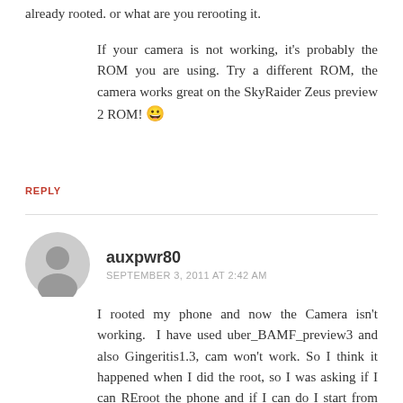already rooted. or what are you rerooting it.
If your camera is not working, it's probably the ROM you are using. Try a different ROM, the camera works great on the SkyRaider Zeus preview 2 ROM! 😀
REPLY
auxpwr80
SEPTEMBER 3, 2011 AT 2:42 AM
I rooted my phone and now the Camera isn't working. I have used uber_BAMF_preview3 and also Gingeritis1.3, cam won't work. So I think it happened when I did the root, so I was asking if I can REroot the phone and if I can do I start from the beginning of from after downgrade.
REPLY